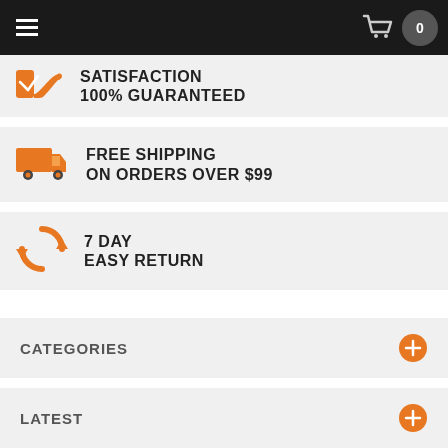0
SATISFACTION
100% GUARANTEED
FREE SHIPPING
ON ORDERS OVER $99
7 DAY
EASY RETURN
CATEGORIES
LATEST